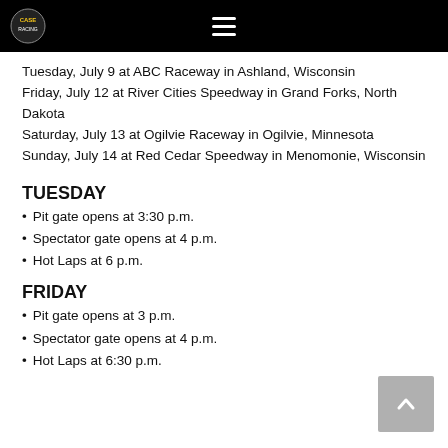CASE [logo] ≡
Tuesday, July 9 at ABC Raceway in Ashland, Wisconsin
Friday, July 12 at River Cities Speedway in Grand Forks, North Dakota
Saturday, July 13 at Ogilvie Raceway in Ogilvie, Minnesota
Sunday, July 14 at Red Cedar Speedway in Menomonie, Wisconsin
TUESDAY
Pit gate opens at 3:30 p.m.
Spectator gate opens at 4 p.m.
Hot Laps at 6 p.m.
FRIDAY
Pit gate opens at 3 p.m.
Spectator gate opens at 4 p.m.
Hot Laps at 6:30 p.m.